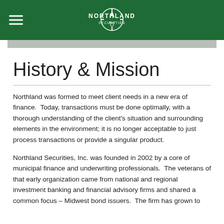Northland Securities
History & Mission
Northland was formed to meet client needs in a new era of finance.  Today, transactions must be done optimally, with a thorough understanding of the client’s situation and surrounding elements in the environment; it is no longer acceptable to just process transactions or provide a singular product.
Northland Securities, Inc. was founded in 2002 by a core of municipal finance and underwriting professionals.  The veterans of that early organization came from national and regional investment banking and financial advisory firms and shared a common focus – Midwest bond issuers.  The firm has grown to